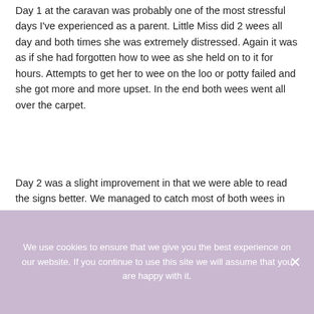Day 1 at the caravan was probably one of the most stressful days I've experienced as a parent. Little Miss did 2 wees all day and both times she was extremely distressed. Again it was as if she had forgotten how to wee as she held on to it for hours. Attempts to get her to wee on the loo or potty failed and she got more and more upset. In the end both wees went all over the carpet.
Day 2 was a slight improvement in that we were able to read the signs better. We managed to catch most of both wees in the potty. Unfortunately she was standing up with knickers on
We use cookies to ensure that we give you the best experience on our website. If you continue to use this site we will assume that you are happy with it.